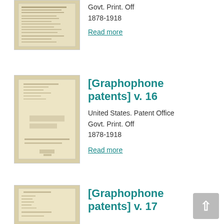[Figure (photo): Thumbnail image of a historical patent document cover page, aged yellowish paper with text]
Govt. Print. Off
1878-1918
Read more
[Figure (photo): Thumbnail image of a historical patent document cover page, aged yellowish paper with text, title page visible]
[Graphophone patents] v. 16
United States. Patent Office
Govt. Print. Off
1878-1918
Read more
[Figure (photo): Thumbnail image of a historical patent document cover page, partial view]
[Graphophone patents] v. 17